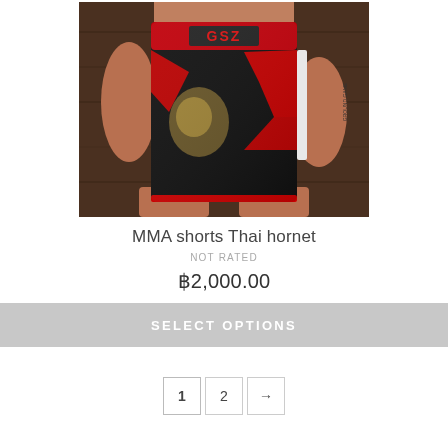[Figure (photo): MMA shorts Thai hornet product photo showing a person wearing black and red MMA fight shorts with GSZ brand logo on the waistband, held against a wooden background.]
MMA shorts Thai hornet
NOT RATED
฿2,000.00
SELECT OPTIONS
1  2  →